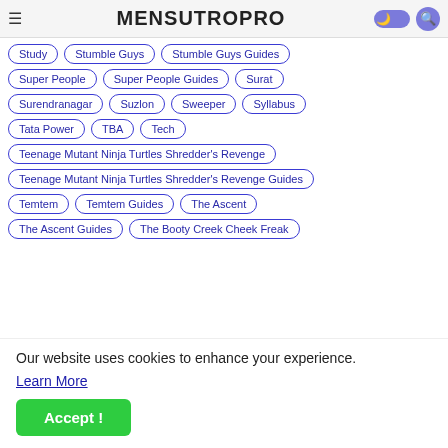≡ MENSUTROPRO [dark mode toggle] [search]
Study
Stumble Guys
Stumble Guys Guides
Super People
Super People Guides
Surat
Surendranagar
Suzlon
Sweeper
Syllabus
Tata Power
TBA
Tech
Teenage Mutant Ninja Turtles Shredder's Revenge
Teenage Mutant Ninja Turtles Shredder's Revenge Guides
Temtem
Temtem Guides
The Ascent
The Ascent Guides
The Booty Creek Cheek Freak
Our website uses cookies to enhance your experience. Learn More
Accept !